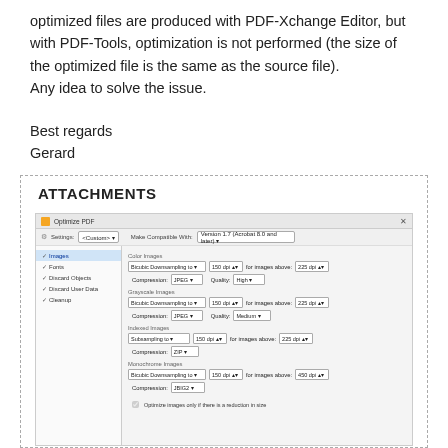optimized files are produced with PDF-Xchange Editor, but with PDF-Tools, optimization is not performed (the size of the optimized file is the same as the source file). Any idea to solve the issue.
Best regards
Gerard
ATTACHMENTS
[Figure (screenshot): Screenshot of PDF Optimize PDF dialog showing settings for Color Images, Grayscale Images, Indexed Images, and Monochrome Images with options for Bicubic Downsampling, Compression (JPEG, ZIP, JBIG2), Quality, and DPI settings.]